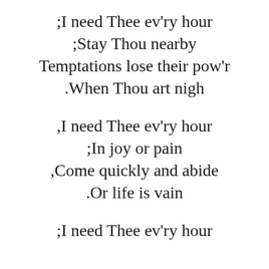;I need Thee ev'ry hour
;Stay Thou nearby
Temptations lose their pow'r
.When Thou art nigh
,I need Thee ev'ry hour
;In joy or pain
,Come quickly and abide
.Or life is vain
;I need Thee ev'ry hour